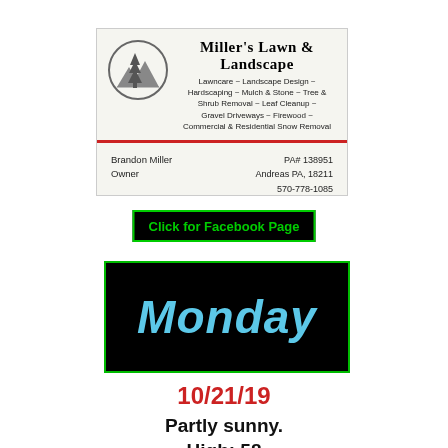[Figure (logo): Miller's Lawn & Landscape business card with pine tree logo, services list, red dividing line, owner name Brandon Miller, contact info PA# 138951, Andreas PA 18211, 570-778-1085, Fully Insured and Free Estimates]
Click for Facebook Page
[Figure (illustration): Black background box with green border showing the word 'Monday' in stylized cyan/blue graffiti-style text]
10/21/19
Partly sunny.
High: 58